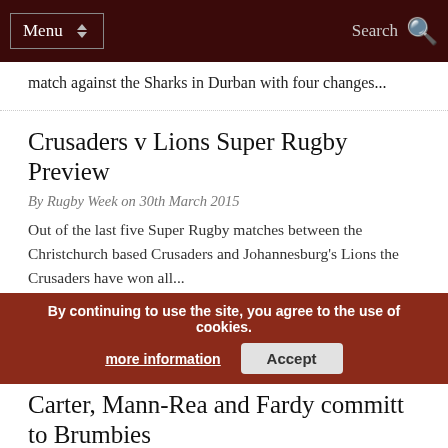Menu | Search
match against the Sharks in Durban with four changes...
Crusaders v Lions Super Rugby Preview
By Rugby Week on 30th March 2015
Out of the last five Super Rugby matches between the Christchurch based Crusaders and Johannesburg's Lions the Crusaders have won all...
Pocock returns for Brumbies to face Waratahs
By Rugby Week on 30th March 2015
The Brumbies have named their team to play in Sunday's Australian Super Rugby derby against the Waratahs in Sydney and David...
By continuing to use the site, you agree to the use of cookies. more information Accept
Carter, Mann-Rea and Fardy committ to Brumbies